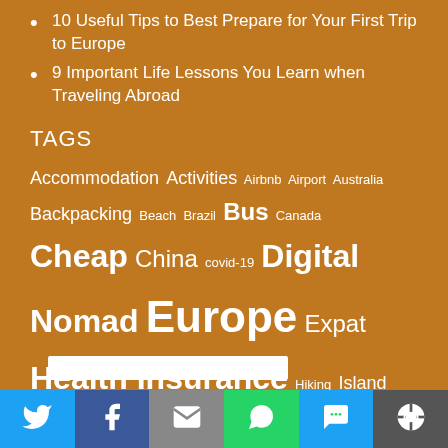10 Useful Tips to Best Prepare for Your First Trip to Europe
9 Important Life Lessons You Learn when Traveling Abroad
TAGS
Accommodation Activities Airbnb Airport Australia Backpacking Beach Brazil Bus Canada Cheap China covid-19 Digital Nomad Europe Expat Health Insurance Hiking Island itinerary Korea Live Abroad Mountain North Korea Norway plane Road Trip Save Seoul South Korea Spain Students Study Study Abroad Tickets Tourism tours Train Transport Travel Trip United States USA War Work Abroad
[Figure (infographic): Social sharing bar with Twitter, Facebook, Email, WhatsApp, SMS, and More buttons at the bottom of the page]